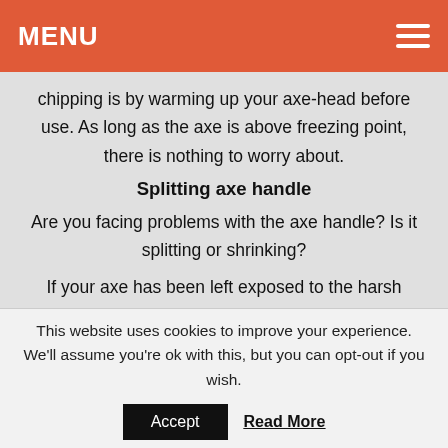MENU
chipping is by warming up your axe-head before use. As long as the axe is above freezing point, there is nothing to worry about.
Splitting axe handle
Are you facing problems with the axe handle? Is it splitting or shrinking?
If your axe has been left exposed to the harsh weather, it's handle tends to split or shrink since it is not coated with any protective layer. That said, make sure that you always store
This website uses cookies to improve your experience. We'll assume you're ok with this, but you can opt-out if you wish.